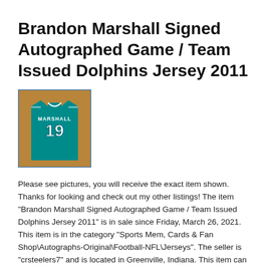Brandon Marshall Signed Autographed Game / Team Issued Dolphins Jersey 2011
[Figure (photo): Photo of a teal Miami Dolphins jersey with number 19 and MARSHALL on the back, hanging against a wooden background.]
Please see pictures, you will receive the exact item shown. Thanks for looking and check out my other listings! The item "Brandon Marshall Signed Autographed Game / Team Issued Dolphins Jersey 2011" is in sale since Friday, March 26, 2021. This item is in the category "Sports Mem, Cards & Fan Shop\Autographs-Original\Football-NFL\Jerseys". The seller is "crsteelers7" and is located in Greenville, Indiana. This item can be shipped to United States, Canada, United Kingdom, Denmark, Romania, Slovakia, Bulgaria, Czech republic, Finland, Hungary, Latvia, Lithuania, Malta, Estonia, Australia, Greece,